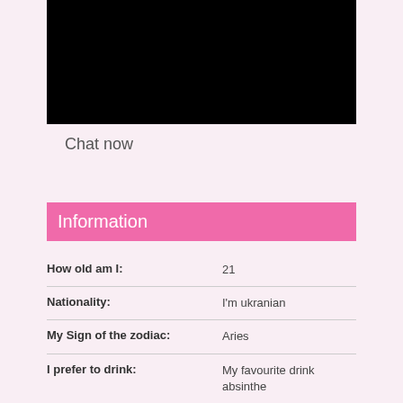[Figure (photo): Black photo/video block at top of profile page]
Chat now
Information
| Field | Value |
| --- | --- |
| How old am I: | 21 |
| Nationality: | I'm ukranian |
| My Sign of the zodiac: | Aries |
| I prefer to drink: | My favourite drink absinthe |